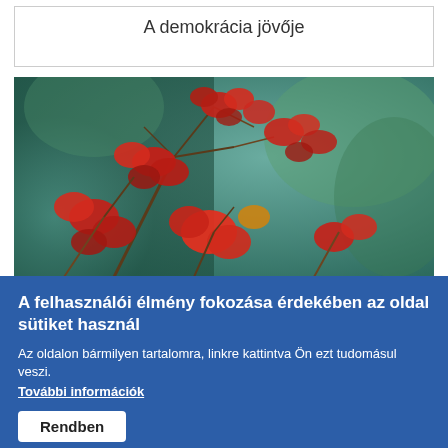A demokrácia jövője
[Figure (photo): Autumn red maple leaves on branches with a blurred green forest background]
A felhasználói élmény fokozása érdekében az oldal sütiket használ
Az oldalon bármilyen tartalomra, linkre kattintva Ön ezt tudomásul veszi.
További információk
Rendben